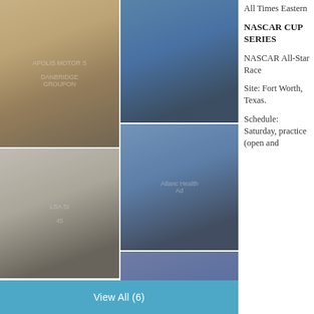[Figure (photo): NASCAR driver celebrating victory with trophy raised at Indianapolis Motor Speedway, wearing yellow racing suit]
[Figure (photo): Two NASCAR figures embracing/hugging in celebration, one wearing black racing gear]
[Figure (photo): NASCAR car #45 on track with checkered flag celebration, burnout smoke]
[Figure (photo): NASCAR driver celebrating victory with arms raised, wearing white Jordan brand clothing]
[Figure (photo): Indy Grand Prix podium celebration at Indianapolis Motor Speedway]
All Times Eastern
NASCAR CUP SERIES
NASCAR All-Star Race
Site: Fort Worth, Texas.
Schedule: Saturday, practice (open and
View All (6)